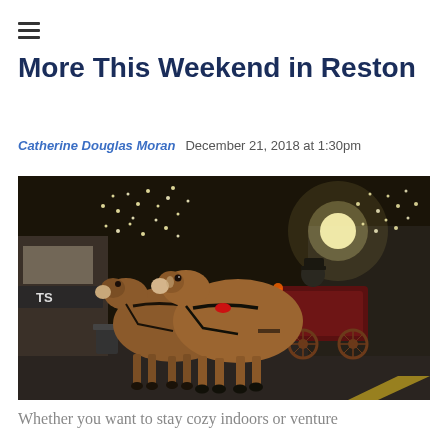≡
More This Weekend in Reston
Catherine Douglas Moran  December 21, 2018 at 1:30pm
[Figure (photo): Two chestnut horses pulling a red carriage down a nighttime street lined with glowing white Christmas lights on trees, with a driver in a dark coat and hat, storefronts visible on the left including one with awnings marked 'TS'.]
Whether you want to stay cozy indoors or venture